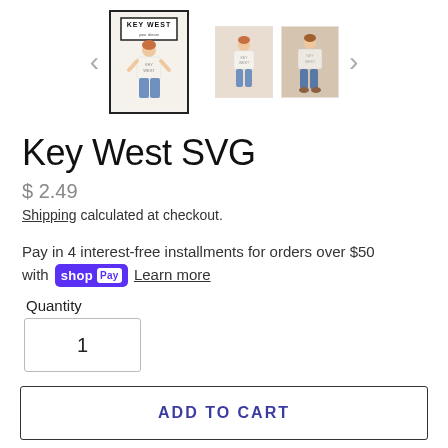[Figure (screenshot): Product image gallery showing three thumbnails of a Key West SVG t-shirt design, with left and right navigation arrows]
Key West SVG
$ 2.49
Shipping calculated at checkout.
Pay in 4 interest-free installments for orders over $50 with shop Pay Learn more
Quantity
1
ADD TO CART